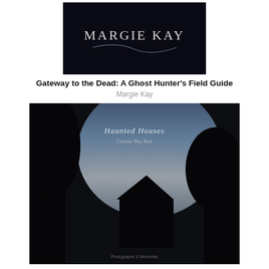[Figure (photo): Book cover for 'Gateway to the Dead: A Ghost Hunter's Field Guide' by Margie Kay — dark background with stylized text]
Gateway to the Dead: A Ghost Hunter's Field Guide
Margie Kay
[Figure (photo): Book cover for 'Haunted Houses' by Corinne May Botz — dark atmospheric photo of a house silhouette with twilight sky]
Haunted Houses
Corinne May Botz
[Figure (photo): Book cover for 'Ghostly Encounters' — dark image of a house at night with large text reading 'Ghostly Encounters']